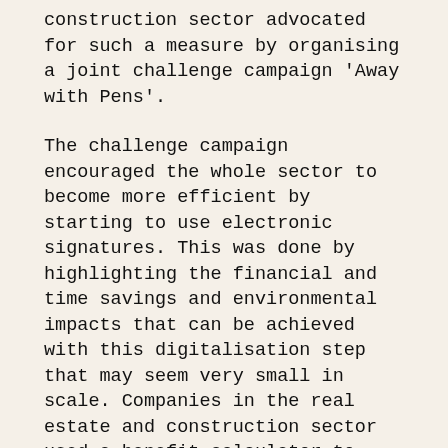construction sector advocated for such a measure by organising a joint challenge campaign 'Away with Pens'.
The challenge campaign encouraged the whole sector to become more efficient by starting to use electronic signatures. This was done by highlighting the financial and time savings and environmental impacts that can be achieved with this digitalisation step that may seem very small in scale. Companies in the real estate and construction sector used a benefit calculator to calculate the potential benefits to be gained from electronic signing for their operations. The impact was based on the euros, sheets of paper and working hours that were saved.
In connection with the campaign, KPMG Finland investigated the impact potential of starting to use electronic signatures. The conclusion was that electronic signing would have genuine and significant impacts on the national economy. According to the